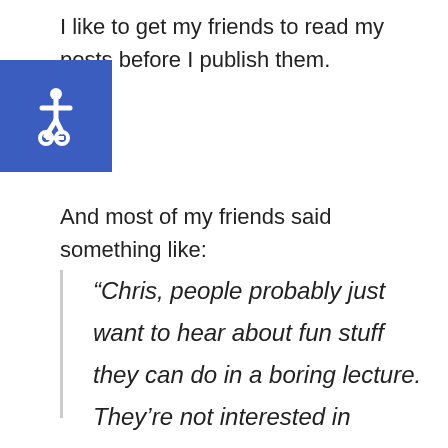I like to get my friends to read my posts before I publish them.
[Figure (illustration): Blue square accessibility icon with wheelchair symbol in white]
And most of my friends said something like:
“Chris, people probably just want to hear about fun stuff they can do in a boring lecture. They’re not interested in studying.”